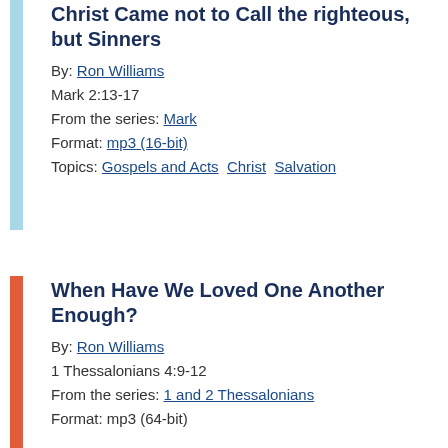Christ Came not to Call the righteous, but Sinners
By: Ron Williams
Mark 2:13-17
From the series: Mark
Format: mp3 (16-bit)
Topics: Gospels and Acts  Christ  Salvation
When Have We Loved One Another Enough?
By: Ron Williams
1 Thessalonians 4:9-12
From the series: 1 and 2 Thessalonians
Format: mp3 (64-bit)